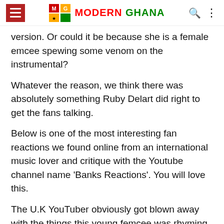MG Modern Ghana
version. Or could it be because she is a female emcee spewing some venom on the instrumental?
Whatever the reason, we think there was absolutely something Ruby Delart did right to get the fans talking.
Below is one of the most interesting fan reactions we found online from an international music lover and critique with the Youtube channel name 'Banks Reactions'. You will love this.
The U.K YouTuber obviously got blown away with the things this young femcee was rhyming about.
[Figure (screenshot): YouTube video thumbnail showing a bearded man avatar with the title 'Delart - Oda (Shatta Wale Shoulder ...' on a dark background with channel tag 'BANKS REACTS']